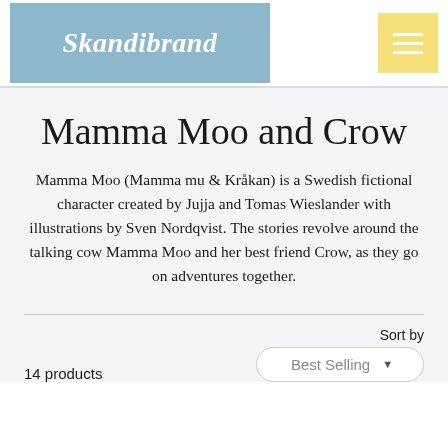[Figure (logo): Skandibrand logo — white bold italic text on a blue-gray rectangular background]
Mamma Moo and Crow
Mamma Moo (Mamma mu & Kråkan) is a Swedish fictional character created by Jujja and Tomas Wieslander with illustrations by Sven Nordqvist. The stories revolve around the talking cow Mamma Moo and her best friend Crow, as they go on adventures together.
14 products
Sort by
Best Selling